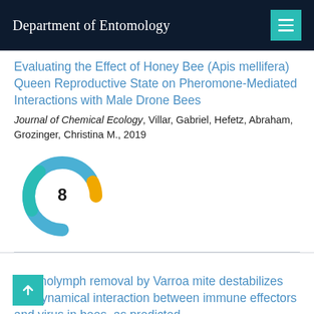Department of Entomology
Evaluating the Effect of Honey Bee (Apis mellifera) Queen Reproductive State on Pheromone-Mediated Interactions with Male Drone Bees
Journal of Chemical Ecology, Villar, Gabriel, Hefetz, Abraham, Grozinger, Christina M., 2019
[Figure (donut-chart): Citation badge showing the number 8 in the center of a donut/ring chart with blue and yellow/orange segments]
Haemolymph removal by Varroa mite destabilizes the dynamical interaction between immune effectors and virus in bees, as predicted